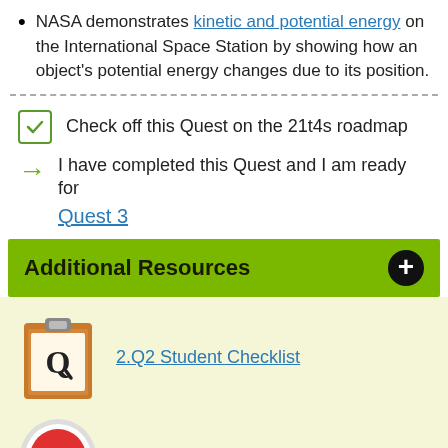NASA demonstrates kinetic and potential energy on the International Space Station by showing how an object's potential energy changes due to its position.
Check off this Quest on the 21t4s roadmap
I have completed this Quest and I am ready for Quest 3
Additional Resources
[Figure (illustration): Clipboard icon with Q checkmark for student checklist]
2.Q2 Student Checklist
[Figure (illustration): Teacher guide icon with apple and letter T]
2.Q2 Teacher Guide